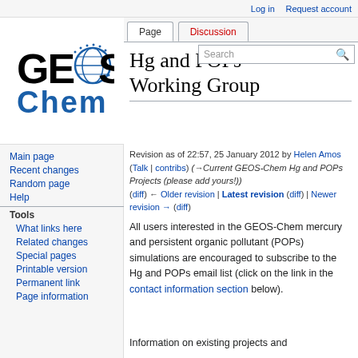Log in  Request account
[Figure (logo): GEOS-Chem logo with globe and blue text]
Main page
Recent changes
Random page
Help
Tools
What links here
Related changes
Special pages
Printable version
Permanent link
Page information
Hg and POPs Working Group
Revision as of 22:57, 25 January 2012 by Helen Amos (Talk | contribs) (→Current GEOS-Chem Hg and POPs Projects (please add yours!)) (diff) ← Older revision | Latest revision (diff) | Newer revision → (diff)
All users interested in the GEOS-Chem mercury and persistent organic pollutant (POPs) simulations are encouraged to subscribe to the Hg and POPs email list (click on the link in the contact information section below).
Information on existing projects and